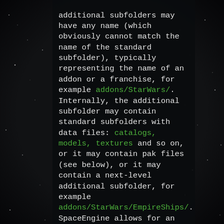additional subfolders may have any name (which obviously cannot match the name of the standard subfolder), typically representing the name of an addon or a franchise, for example addons/StarWars/. Internally, the additional subfolder may contain standard subfolders with data files: catalogs, models, textures and so on, or it may contain pak files (see below), or it may contain a next-level additional subfolder, for example addons/StarWars/EmpireShips/. SpaceEngine allows for an